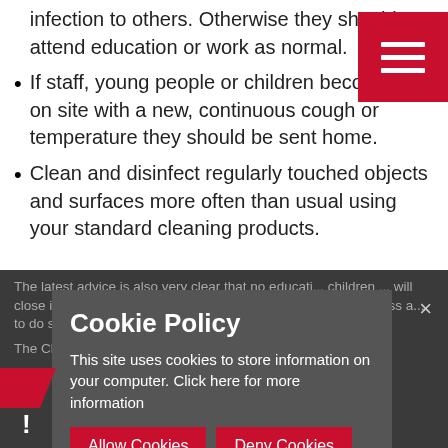infection to others. Otherwise they should attend education or work as normal.
If staff, young people or children become ill on site with a new, continuous cough or temperature they should be sent home.
Clean and disinfect regularly touched objects and surfaces more often than usual using your standard cleaning products.
The latest advice is also very clear that no education children ... will close in response to a suspected or confirmed COVID-19 case unless advised to do so...
The Chief Medical Officer has advised that the immunity...
Cookie Policy
This site uses cookies to store information on your computer. Click here for more information
Allow Cookies
Deny Cookies